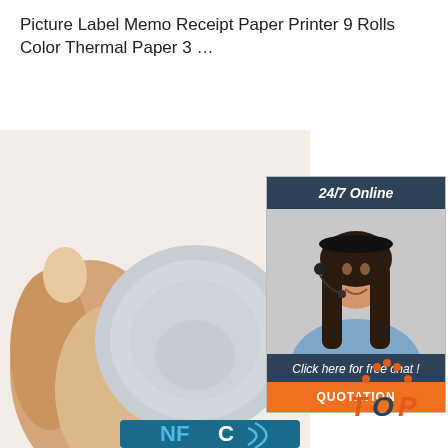Picture Label Memo Receipt Paper Printer 9 Rolls Color Thermal Paper 3 …
[Figure (other): Orange 'Get Price' button]
[Figure (photo): Hand holding a small circular disc of thermal paper roll against a white background, with NFC logo partially visible at bottom]
[Figure (infographic): Support widget panel with dark header '24/7 Online', photo of female customer service agent wearing headset, dark footer 'Click here for free chat!', and orange 'QUOTATION' button]
[Figure (other): TOP navigation button with orange dots arc above orange T, blue O, orange P letters]